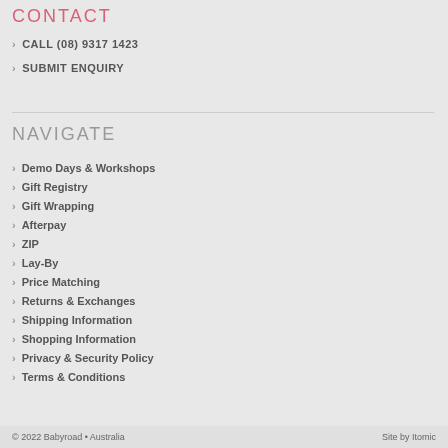CONTACT
CALL (08) 9317 1423
SUBMIT ENQUIRY
NAVIGATE
Demo Days & Workshops
Gift Registry
Gift Wrapping
Afterpay
ZIP
Lay-By
Price Matching
Returns & Exchanges
Shipping Information
Shopping Information
Privacy & Security Policy
Terms & Conditions
© 2022 Babyroad • Australia    Site by Itomic